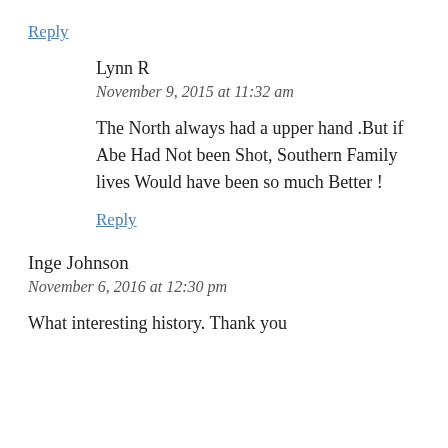Reply
Lynn R
November 9, 2015 at 11:32 am
The North always had a upper hand .But if Abe Had Not been Shot, Southern Family lives Would have been so much Better !
Reply
Inge Johnson
November 6, 2016 at 12:30 pm
What interesting history. Thank you